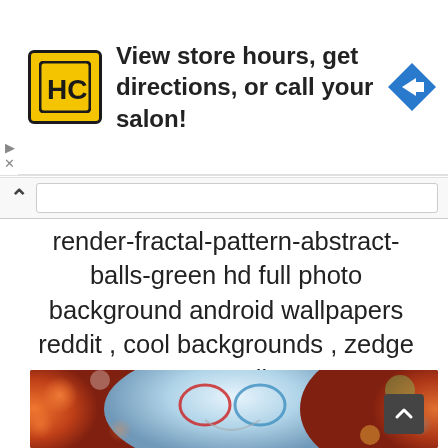[Figure (infographic): Advertisement banner: HC salon logo (yellow square with HC text), text 'View store hours, get directions, or call your salon!', blue navigation arrow icon on the right. Small play and X controls on the left edge.]
render-fractal-pattern-abstract-balls-green hd full photo background android wallpapers reddit , cool backgrounds , zedge awesome wallpapers
[Figure (photo): Artistic photo of a heart shape formed by swirling red and blue water splashes against a bokeh background with warm orange/red tones on the left and teal/blue tones on the right.]